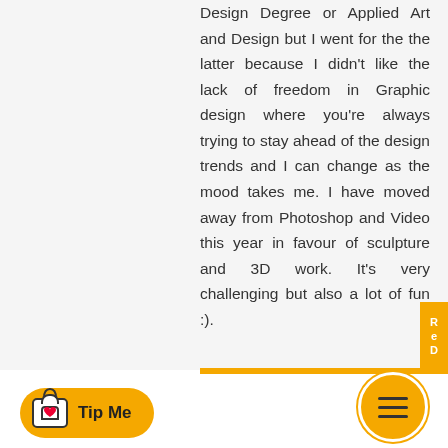Design Degree or Applied Art and Design but I went for the the latter because I didn't like the lack of freedom in Graphic design where you're always trying to stay ahead of the design trends and I can change as the mood takes me. I have moved away from Photoshop and Video this year in favour of sculpture and 3D work. It's very challenging but also a lot of fun :).
[Figure (photo): User avatar showing a person with glasses on dark background, circular crop]
Fantasio  12/23/2009
Thank you, your words mean a lot to me. And so your decision to stay away from trends seem reasonable -